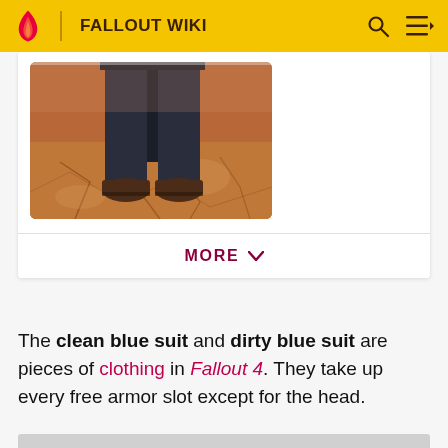FALLOUT WIKI
[Figure (photo): Lower body of a character wearing a dark blue suit and brown shoes, standing on a cracked orange/brown surface (post-apocalyptic ground texture).]
MORE
The clean blue suit and dirty blue suit are pieces of clothing in Fallout 4. They take up every free armor slot except for the head.